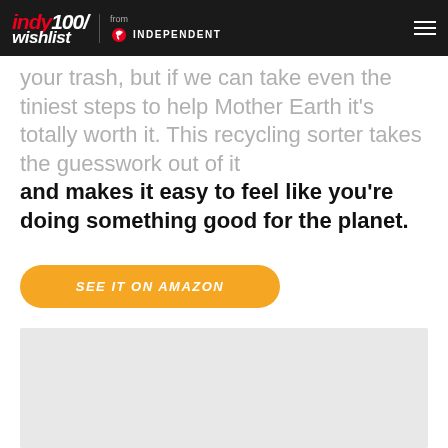indy100/wishlist from INDEPENDENT
your trash, but if we can take even the tiniest steps to help Mother Earth it's totally worth it. This recycling sorter takes the guesswork out of it and makes it easy to feel like you're doing something good for the planet.
SEE IT ON AMAZON
[Figure (photo): Light grey rectangular image placeholder area at the bottom of the page]